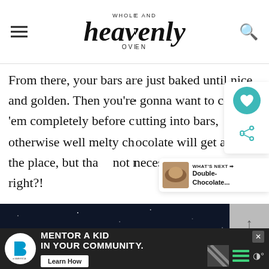WHOLE AND heavenly OVEN
From there, your bars are just baked until nice and golden. Then you're gonna want to cool 'em completely before cutting into bars, otherwise well melty chocolate will get all over the place, but that's not necessarily a bad thing, right?!
[Figure (screenshot): Space-themed advertisement image with astronaut, Saturn-like planet, and stars on dark background]
[Figure (infographic): Advertisement bar: Big Brothers Big Sisters logo, 'MENTOR A KID IN YOUR COMMUNITY.' text with Learn How button, diagonal stripes, menu icon, weather icon]